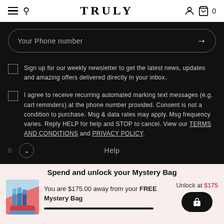TRULY
Your Phone number
Sign up for our weekly newsletter to get the latest news, updates and amazing offers delivered directly in your inbox.
I agree to receive recurring automated marking text messages (e.g. cart reminders) at the phone number provided. Consent is not a condition to purchase. Msg & data rates may apply. Msg frequency varies. Reply HELP for help and STOP to cancel. View our TERMS AND CONDITIONS and PRIVACY POLICY.
Help
Spend and unlock your Mystery Bag
You are $175.00 away from your FREE Mystery Bag
Unlock at $175